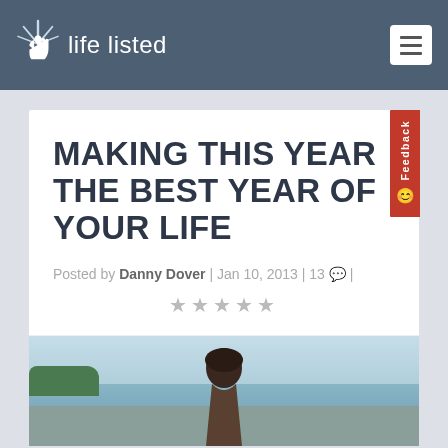life listed
MAKING THIS YEAR THE BEST YEAR OF YOUR LIFE
Posted by Danny Dover | Jan 10, 2013 | 13 💬 |
★★★★★
[Figure (photo): Outdoor photo of a person with dark hair, water and sky in background]